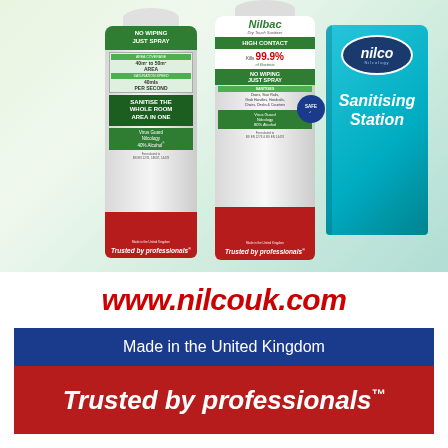[Figure (photo): Nilco/Nilbac sanitising spray products including two aerosol cans and a Nilco Sanitising Station box on a light green background]
www.nilcouk.com
Made in the United Kingdom
Trusted by professionals™